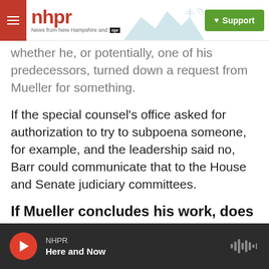nhpr — News from New Hampshire and NPR | Support
whether he, or potentially, one of his predecessors, turned down a request from Mueller for something.
If the special counsel's office asked for authorization to try to subpoena someone, for example, and the leadership said no, Barr could communicate that to the House and Senate judiciary committees.
If Mueller concludes his work, does that mean the investigations into Trump are over?
NHPR — Here and Now